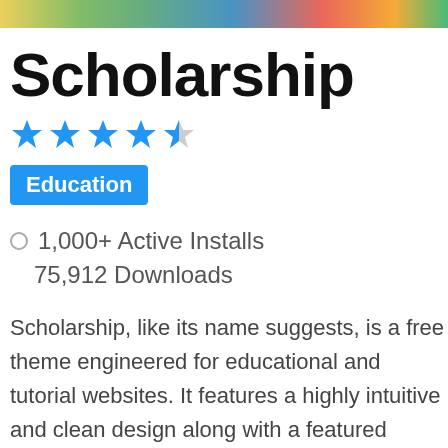[colorful header image strip]
Scholarship
[Figure (other): Star rating: 4.5 out of 5 stars (4 filled blue stars and 1 half star)]
Education
1,000+ Active Installs
75,912 Downloads
Scholarship, like its name suggests, is a free theme engineered for educational and tutorial websites. It features a highly intuitive and clean design along with a featured images section. The theme comes with a built-in customizer and widget customization support with a drag-and-drop